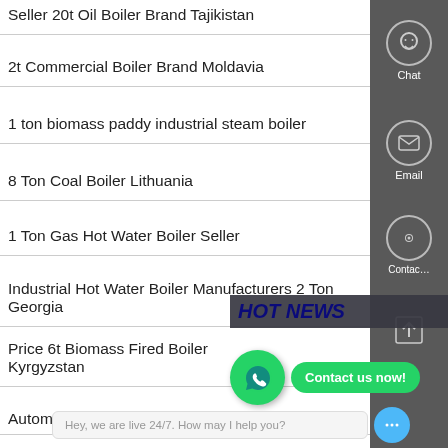Seller 20t Oil Boiler Brand Tajikistan
2t Commercial Boiler Brand Moldavia
1 ton biomass paddy industrial steam boiler
8 Ton Coal Boiler Lithuania
1 Ton Gas Hot Water Boiler Seller
Industrial Hot Water Boiler Manufacturers 2 Ton Georgia
Price 6t Biomass Fired Boiler Kyrgyzstan
Automatic Biog…
[Figure (screenshot): Right-side chat/contact sidebar with dark background showing chat headset icon, email icon, and contact button. HOT NEWS overlay text visible. WhatsApp popup with green icon and Contact us now button. Live chat bar at bottom: Hey, we are live 24/7. How may I help you? with blue chat bubble button.]